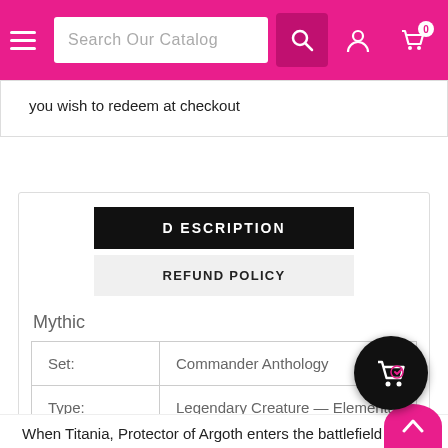Search Our Catalog
you wish to redeem at checkout
DESCRIPTION
REFUND POLICY
Mythic
| Set: | Commander Anthology |
| Type: | Legendary Creature — Elemental |
| Cost: | {3}{G}{G} |
When Titania, Protector of Argoth enters the battlefield